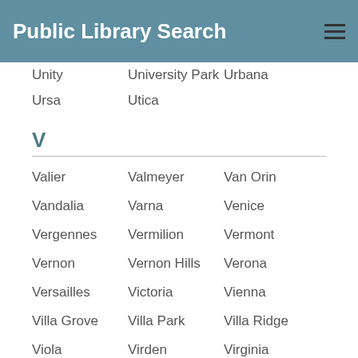Public Library Search
Unity  University Park  Urbana
Ursa  Utica
V
Valier  Valmeyer  Van Orin
Vandalia  Varna  Venice
Vergennes  Vermilion  Vermont
Vernon  Vernon Hills  Verona
Versailles  Victoria  Vienna
Villa Grove  Villa Park  Villa Ridge
Viola  Virden  Virginia
W